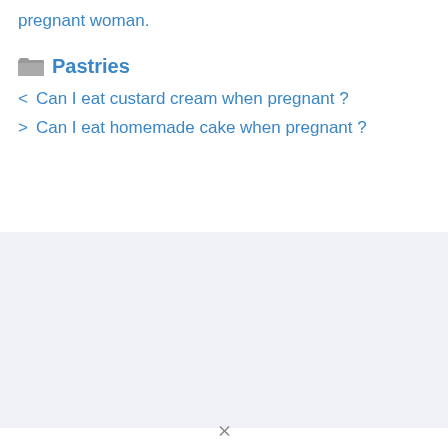pregnant woman.
Pastries
Can I eat custard cream when pregnant ?
Can I eat homemade cake when pregnant ?